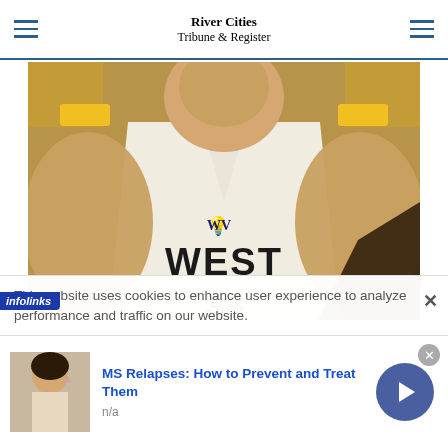River Cities Tribune & Register
[Figure (photo): Close-up photo of a West Virginia University basketball player wearing a white WEST jersey with gold letters and WVU logo, leaning forward during a game]
This website uses cookies to enhance user experience to analyze performance and traffic on our website.
[Figure (infographic): Infolinks ad banner with image of a woman and text: MS Relapses: How to Prevent and Treat Them, n/a]